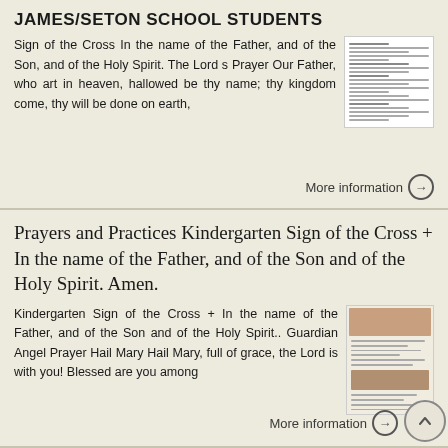JAMES/SETON SCHOOL STUDENTS
Sign of the Cross In the name of the Father, and of the Son, and of the Holy Spirit. The Lord s Prayer Our Father, who art in heaven, hallowed be thy name; thy kingdom come, thy will be done on earth,
[Figure (screenshot): Thumbnail of a document page with text lines]
More information →
Prayers and Practices Kindergarten Sign of the Cross + In the name of the Father, and of the Son and of the Holy Spirit. Amen.
Kindergarten Sign of the Cross + In the name of the Father, and of the Son and of the Holy Spirit.. Guardian Angel Prayer Hail Mary Hail Mary, full of grace, the Lord is with you! Blessed are you among
[Figure (screenshot): Thumbnail of a document with images and text]
More information →